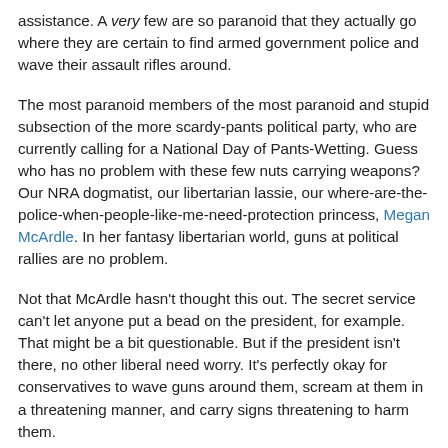assistance. A very few are so paranoid that they actually go where they are certain to find armed government police and wave their assault rifles around.
The most paranoid members of the most paranoid and stupid subsection of the more scardy-pants political party, who are currently calling for a National Day of Pants-Wetting. Guess who has no problem with these few nuts carrying weapons? Our NRA dogmatist, our libertarian lassie, our where-are-the-police-when-people-like-me-need-protection princess, Megan McArdle. In her fantasy libertarian world, guns at political rallies are no problem.
Not that McArdle hasn't thought this out. The secret service can't let anyone put a bead on the president, for example. That might be a bit questionable. But if the president isn't there, no other liberal need worry. It's perfectly okay for conservatives to wave guns around them, scream at them in a threatening manner, and carry signs threatening to harm them.
McArdle also points out the number of people who legally